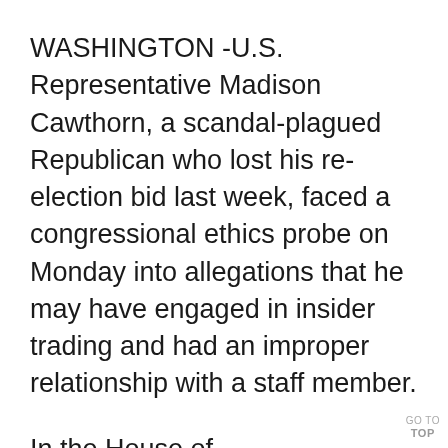WASHINGTON -U.S. Representative Madison Cawthorn, a scandal-plagued Republican who lost his re-election bid last week, faced a congressional ethics probe on Monday into allegations that he may have engaged in insider trading and had an improper relationship with a staff member.
In the House of Representatives' Ethics Committee announcement of the probe, it said its 10 bipartisan members had voted unanimously to form an investigative
GO TO TOP